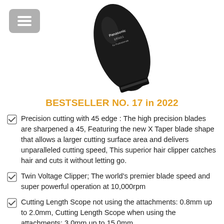[Figure (photo): Product photo of a Panasonic ER1611 professional hair clipper, black colored, partially visible at top of page. A gray hamburger menu button is visible in the upper left corner.]
BESTSELLER NO. 17 in 2022
Precision cutting with 45 edge : The high precision blades are sharpened a 45, Featuring the new X Taper blade shape that allows a larger cutting surface area and delivers unparalleled cutting speed, This superior hair clipper catches hair and cuts it without letting go.
Twin Voltage Clipper; The world's premier blade speed and super powerful operation at 10,000rpm
Cutting Length Scope not using the attachments: 0.8mm up to 2.0mm, Cutting Length Scope when using the attachments: 3.0mm up to 15.0mm
50 full minutes of continuous operational use following just 60